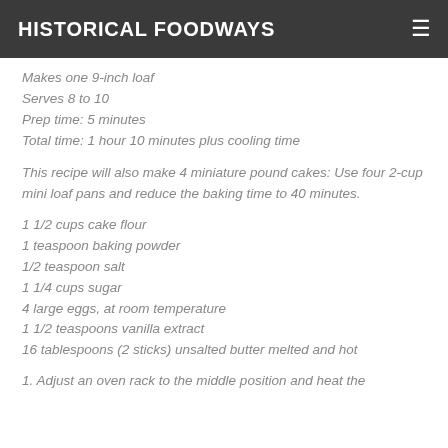HISTORICAL FOODWAYS
Makes one 9-inch loaf
Serves 8 to 10
Prep time: 5 minutes
Total time: 1 hour 10 minutes plus cooling time
This recipe will also make 4 miniature pound cakes: Use four 2-cup mini loaf pans and reduce the baking time to 40 minutes.
1 1/2 cups cake flour
1 teaspoon baking powder
1/2 teaspoon salt
1 1/4 cups sugar
4 large eggs, at room temperature
1 1/2 teaspoons vanilla extract
16 tablespoons (2 sticks) unsalted butter melted and hot
1. Adjust an oven rack to the middle position and heat the